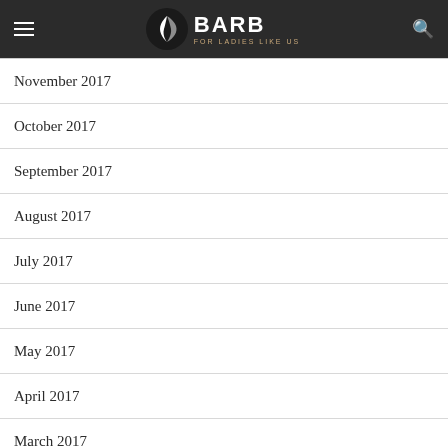BARB FOR LADIES LIKE US
November 2017
October 2017
September 2017
August 2017
July 2017
June 2017
May 2017
April 2017
March 2017